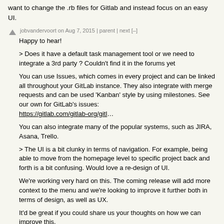want to change the .rb files for Gitlab and instead focus on an easy UI.
jobvandervoort on Aug 7, 2015 | parent | next [–]
Happy to hear!
> Does it have a default task management tool or we need to integrate a 3rd party ? Couldn't find it in the forums yet
You can use Issues, which comes in every project and can be linked all throughout your GitLab instance. They also integrate with merge requests and can be used 'Kanban' style by using milestones. See our own for GitLab's issues: https://gitlab.com/gitlab-org/gitl…
You can also integrate many of the popular systems, such as JIRA, Asana, Trello.
> The UI is a bit clunky in terms of navigation. For example, being able to move from the homepage level to specific project back and forth is a bit confusing. Would love a re-design of UI.
We're working very hard on this. The coming release will add more context to the menu and we're looking to improve it further both in terms of design, as well as UX.
It'd be great if you could share us your thoughts on how we can improve this.
oblio on Aug 7, 2015 | root | parent | next [–]
Some proofreading issues related to the CI webpage (